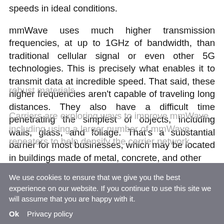speeds in ideal conditions.
mmWave uses much higher transmission frequencies, at up to 1GHz of bandwidth, than traditional cellular signal or even other 5G technologies. This is precisely what enables it to transmit data at incredible speed. That said, these higher frequencies aren't capable of traveling long distances. They also have a difficult time penetrating the simplest of objects, including walls, glass, and foliage. That's a substantial barrier for most businesses, which may be located in buildings made of metal, concrete, and other robust materials.
Carriers are exploring ways to improve mmWave, including using a larger number of mmWave repeaters to help densify the carrier network
We use cookies to ensure that we give you the best experience on our website. If you continue to use this site we will assume that you are happy with it.